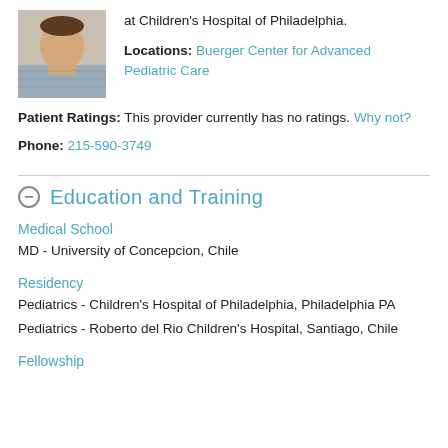[Figure (photo): Headshot photo of a male physician in a light blue striped shirt, smiling]
at Children's Hospital of Philadelphia.
Locations: Buerger Center for Advanced Pediatric Care
Patient Ratings: This provider currently has no ratings. Why not?
Phone: 215-590-3749
Education and Training
Medical School
MD - University of Concepcion, Chile
Residency
Pediatrics - Children's Hospital of Philadelphia, Philadelphia PA
Pediatrics - Roberto del Rio Children's Hospital, Santiago, Chile
Fellowship